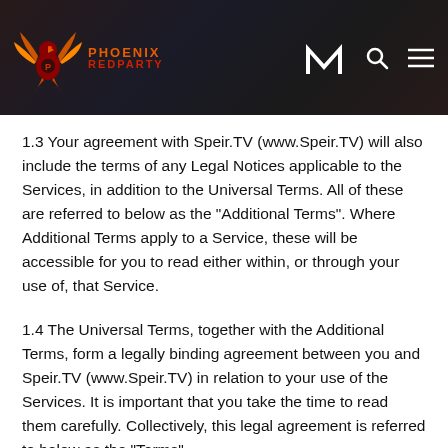Phoenix RedParty — Speir.TV Terms of Service header
1.3 Your agreement with Speir.TV (www.Speir.TV) will also include the terms of any Legal Notices applicable to the Services, in addition to the Universal Terms. All of these are referred to below as the “Additional Terms”. Where Additional Terms apply to a Service, these will be accessible for you to read either within, or through your use of, that Service.
1.4 The Universal Terms, together with the Additional Terms, form a legally binding agreement between you and Speir.TV (www.Speir.TV) in relation to your use of the Services. It is important that you take the time to read them carefully. Collectively, this legal agreement is referred to below as the “Terms”.